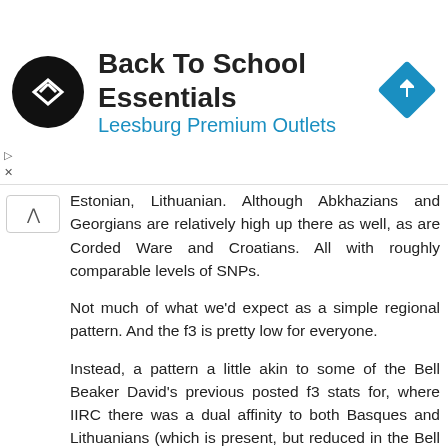[Figure (screenshot): Advertisement banner for 'Back To School Essentials' at Leesburg Premium Outlets with a black circular logo with arrow icon and a blue diamond navigation arrow icon on the right.]
Estonian, Lithuanian. Although Abkhazians and Georgians are relatively high up there as well, as are Corded Ware and Croatians. All with roughly comparable levels of SNPs.

Not much of what we'd expect as a simple regional pattern. And the f3 is pretty low for everyone.

Instead, a pattern a little akin to some of the Bell Beaker David's previous posted f3 stats for, where IIRC there was a dual affinity to both Basques and Lithuanians (which is present, but reduced in the Bell Beaker f3 stat here as well).
Reply
Kurti  June 11, 2015 at 3:54 PM
@Matt